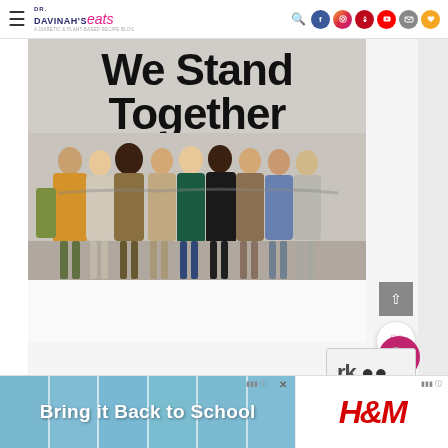Dr. Davinah's Eats — navigation header with logo and social icons
[Figure (photo): Photo of diverse group of people standing in a row with arms around each other, backs to camera, in front of a wall with large black text reading 'We Stand Together']
[Figure (other): Floating UI buttons: scroll-to-top (grey square with up arrow), heart/save button (white circle), and pink search button (circle with magnifying glass icon)]
[Figure (other): reCAPTCHA widget partial view]
[Figure (other): Advertisement banner: 'Bring it Back to School' with school lockers background and H&M brand logo]